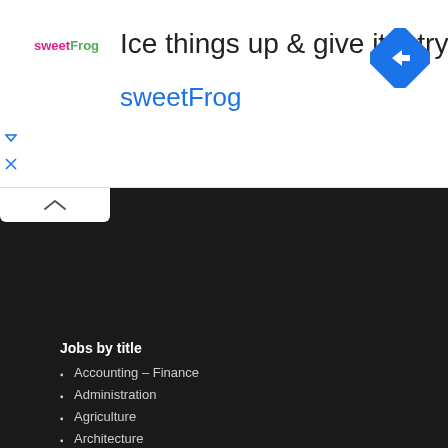[Figure (screenshot): sweetFrog advertisement banner with logo, headline 'Ice things up & give it a try', brand name 'sweetFrog', and blue diamond navigation icon]
Jobs by title
Accounting – Finance
Administration
Agriculture
Architecture